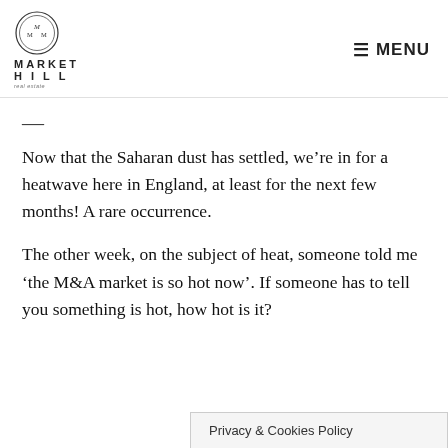MARKET HILL — MENU
—
Now that the Saharan dust has settled, we're in for a heatwave here in England, at least for the next few months! A rare occurrence.
The other week, on the subject of heat, someone told me 'the M&A market is so hot now'. If someone has to tell you something is hot, how hot is it?
Privacy & Cookies Policy